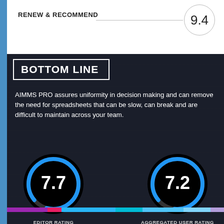RENEW & RECOMMEND
9.4
[Figure (infographic): Dark panel with BOTTOM LINE banner and two gauge/donut charts showing Editor Rating 7.7 and Aggregated User Rating 7.2 (7 ratings), with descriptive text about AIMMS PRO]
AIMMS PRO assures uniformity in decision making and can remove the need for spreadsheets that can be slow, can break and are difficult to maintain across your team.
EDITOR RATING
AGGREGATED USER RATING
7 RATINGS